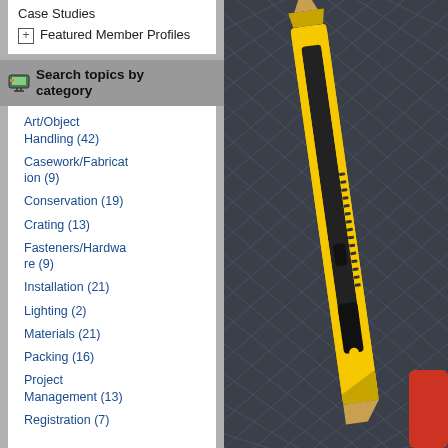Case Studies
Featured Member Profiles
Search topics by category
Art/Object Handling (42)
Casework/Fabrication (9)
Conservation (19)
Crating (13)
Fasteners/Hardware (9)
Installation (21)
Lighting (2)
Materials (21)
Packing (16)
Project Management (13)
Registration (7)
[Figure (photo): Close-up photo of a yellow and black utility/box cutter knife lying on a dark herringbone patterned fabric surface, with a red object partially visible at bottom right.]